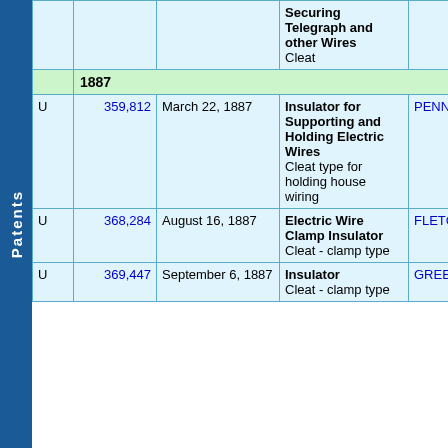| Type | Number | Date | Description | Inventor |
| --- | --- | --- | --- | --- |
|  |  |  | Securing Telegraph and other Wires
Cleat |  |
| 1887 |  |  |  |  |
| U | 359,812 | March 22, 1887 | Insulator for Supporting and Holding Electric Wires
Cleat type for holding house wiring | PENNIE, |
| U | 368,284 | August 16, 1887 | Electric Wire Clamp Insulator
Cleat - clamp type | FLETCH |
| U | 369,447 | September 6, 1887 | Insulator
Cleat - clamp type | GREENR |